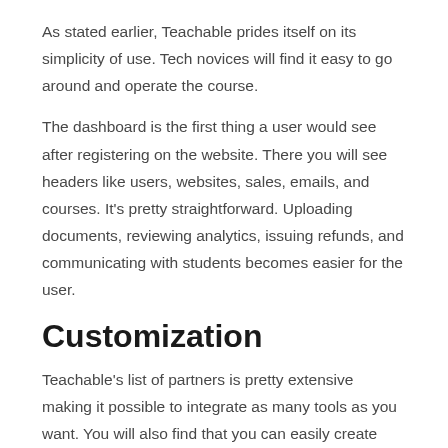As stated earlier, Teachable prides itself on its simplicity of use. Tech novices will find it easy to go around and operate the course.
The dashboard is the first thing a user would see after registering on the website. There you will see headers like users, websites, sales, emails, and courses. It’s pretty straightforward. Uploading documents, reviewing analytics, issuing refunds, and communicating with students becomes easier for the user.
Customization
Teachable’s list of partners is pretty extensive making it possible to integrate as many tools as you want. You will also find that you can easily create multimedia lectures, videos, homepage, and landing pages with their power editor.
Teachable offers a large choice of topics for your online course website that you can select to make an appealing landing page. All